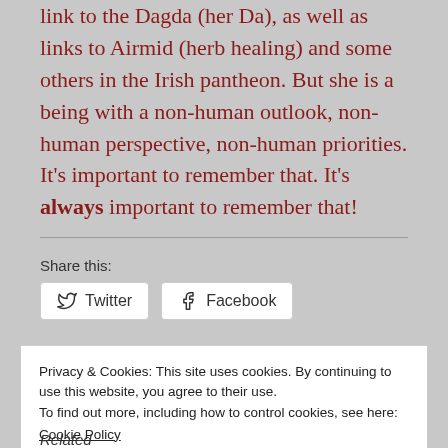link to the Dagda (her Da), as well as links to Airmid (herb healing) and some others in the Irish pantheon. But she is a being with a non-human outlook, non-human perspective, non-human priorities. It’s important to remember that. It’s always important to remember that!
Share this:
Twitter
Facebook
Privacy & Cookies: This site uses cookies. By continuing to use this website, you agree to their use.
To find out more, including how to control cookies, see here:
Cookie Policy
Close and accept
Related